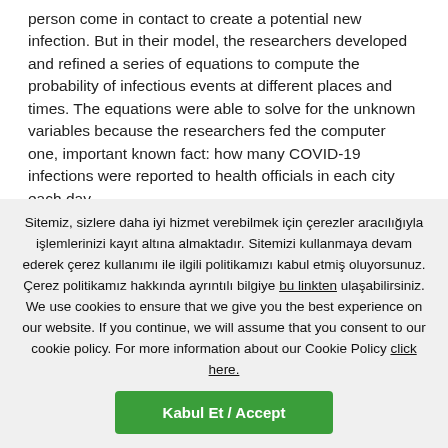person come in contact to create a potential new infection. But in their model, the researchers developed and refined a series of equations to compute the probability of infectious events at different places and times. The equations were able to solve for the unknown variables because the researchers fed the computer one, important known fact: how many COVID-19 infections were reported to health officials in each city each day.
The researchers refined the model until it was able to determine the transmission rate of the virus in each city. The rate varied from city to city depending on factors ranging from how often people ventured out of the house.
Sitemiz, sizlere daha iyi hizmet verebilmek için çerezler aracılığıyla işlemlerinizi kayıt altına almaktadır. Sitemizi kullanmaya devam ederek çerez kullanımı ile ilgili politikamızı kabul etmiş oluyorsunuz. Çerez politikamız hakkında ayrıntılı bilgiye bu linkten ulaşabilirsiniz. We use cookies to ensure that we give you the best experience on our website. If you continue, we will assume that you consent to our cookie policy. For more information about our Cookie Policy click here.
Kabul Et / Accept